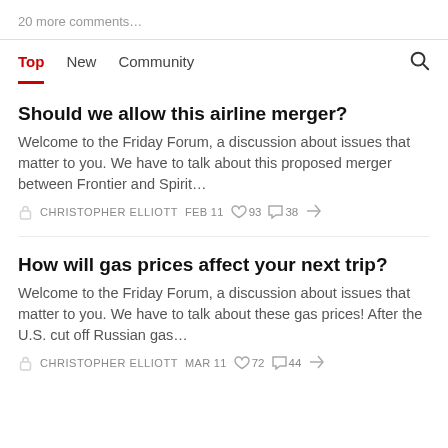20 more comments…
Top  New  Community
Should we allow this airline merger?
Welcome to the Friday Forum, a discussion about issues that matter to you. We have to talk about this proposed merger between Frontier and Spirit…
CHRISTOPHER ELLIOTT  FEB 11  93  38
How will gas prices affect your next trip?
Welcome to the Friday Forum, a discussion about issues that matter to you. We have to talk about these gas prices! After the U.S. cut off Russian gas…
CHRISTOPHER ELLIOTT  MAR 11  72  44